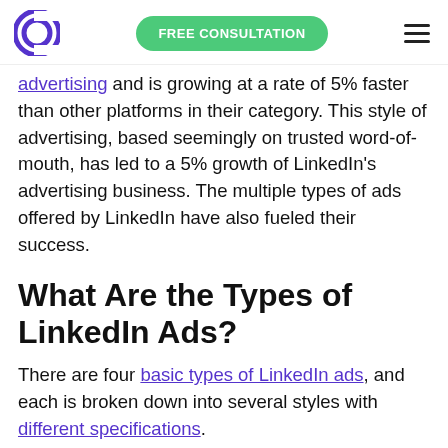FREE CONSULTATION
advertising and is growing at a rate of 5% faster than other platforms in their category. This style of advertising, based seemingly on trusted word-of-mouth, has led to a 5% growth of LinkedIn’s advertising business. The multiple types of ads offered by LinkedIn have also fueled their success.
What Are the Types of LinkedIn Ads?
There are four basic types of LinkedIn ads, and each is broken down into several styles with different specifications.